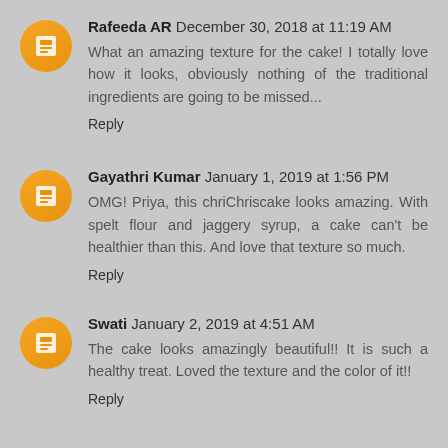Rafeeda AR  December 30, 2018 at 11:19 AM
What an amazing texture for the cake! I totally love how it looks, obviously nothing of the traditional ingredients are going to be missed...
Reply
Gayathri Kumar  January 1, 2019 at 1:56 PM
OMG! Priya, this chriChriscake looks amazing. With spelt flour and jaggery syrup, a cake can't be healthier than this. And love that texture so much.
Reply
Swati  January 2, 2019 at 4:51 AM
The cake looks amazingly beautiful!! It is such a healthy treat. Loved the texture and the color of it!!
Reply